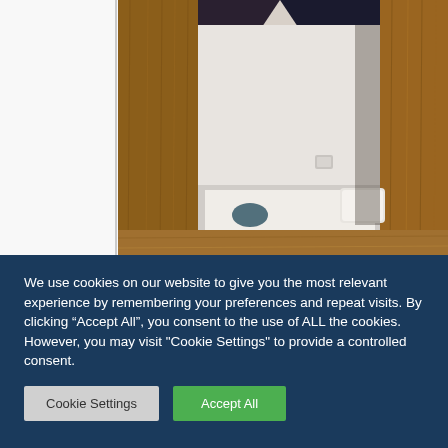[Figure (photo): A wooden bunk bed frame with warm brown wood paneling, showing a mattress with white bedding visible through the frame. The background is a white wall. Left side shows a white panel with a vertical line/border.]
We use cookies on our website to give you the most relevant experience by remembering your preferences and repeat visits. By clicking “Accept All”, you consent to the use of ALL the cookies. However, you may visit "Cookie Settings" to provide a controlled consent.
Cookie Settings
Accept All